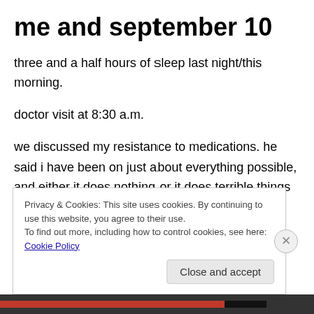me and september 10
three and a half hours of sleep last night/this morning.
doctor visit at 8:30 a.m.
we discussed my resistance to medications. he said i have been on just about everything possible, and either it does nothing or it does terrible things to me. he said he has been thinking about it and has come up with two game plans. game plan number one is the preferred one, but
Privacy & Cookies: This site uses cookies. By continuing to use this website, you agree to their use.
To find out more, including how to control cookies, see here: Cookie Policy
Close and accept